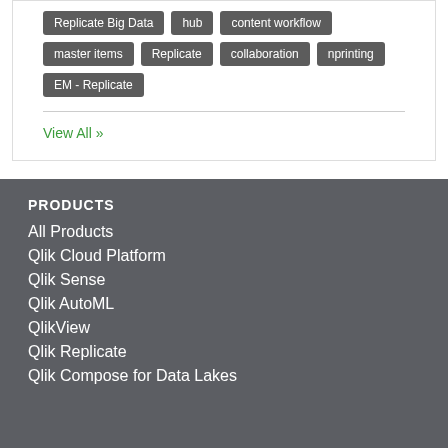Replicate Big Data
hub
content workflow
master items
Replicate
collaboration
nprinting
EM - Replicate
View All ≫
PRODUCTS
All Products
Qlik Cloud Platform
Qlik Sense
Qlik AutoML
QlikView
Qlik Replicate
Qlik Compose for Data Lakes